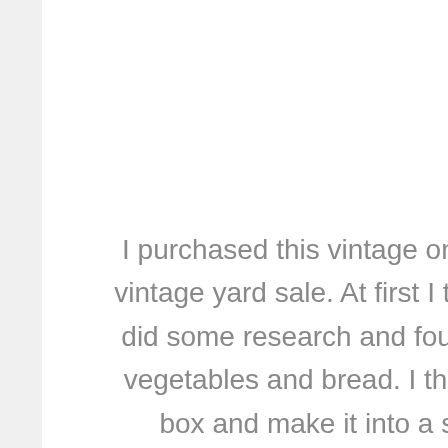I purchased this vintage onion and potato box for $10 at a local vintage yard sale. At first I thought this was a chicken coop, but I did some research and found that it is in fact a storage shelf for vegetables and bread. I thought it would be fun to up-cycle this box and make it into a storage unit for clothes, purses, or whatever else I couldn't fit in my itty-bitty closet.